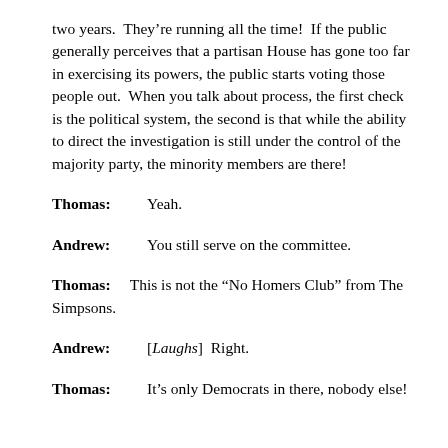two years.  They’re running all the time!  If the public generally perceives that a partisan House has gone too far in exercising its powers, the public starts voting those people out.  When you talk about process, the first check is the political system, the second is that while the ability to direct the investigation is still under the control of the majority party, the minority members are there!
Thomas: Yeah.
Andrew: You still serve on the committee.
Thomas: This is not the “No Homers Club” from The Simpsons.
Andrew: [Laughs]  Right.
Thomas: It’s only Democrats in there, nobody else!